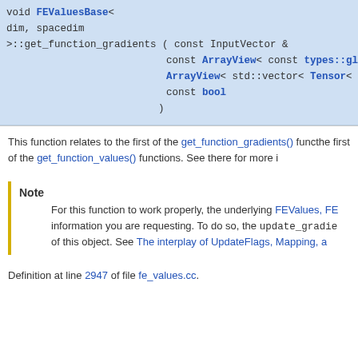void FEValuesBase< dim, spacedim >::get_function_gradients ( const InputVector &  const ArrayView< const types::global_d  ArrayView< std::vector< Tensor< 1, spac  const bool  )
This function relates to the first of the get_function_gradients() functions as the first of the get_function_values() functions. See there for more i
Note
For this function to work properly, the underlying FEValues, FE information you are requesting. To do so, the update_gradie of this object. See The interplay of UpdateFlags, Mapping, a
Definition at line 2947 of file fe_values.cc.